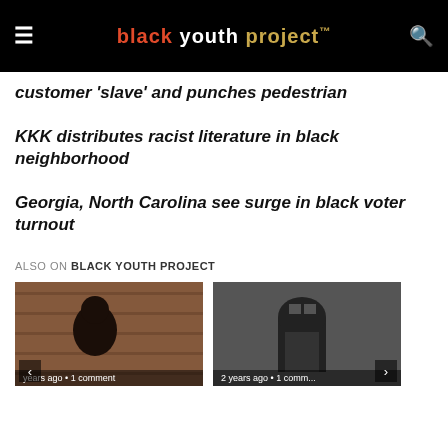black youth project™
customer 'slave' and punches pedestrian
KKK distributes racist literature in black neighborhood
Georgia, North Carolina see surge in black voter turnout
ALSO ON BLACK YOUTH PROJECT
[Figure (photo): Thumbnail image of a person, partially visible, with wooden background. Shows navigation arrow and timestamp overlay: 'years ago • 1 comment']
[Figure (photo): Thumbnail image of an archway/door in black and white. Shows navigation arrow and timestamp overlay: '2 years ago • 1 comm...']